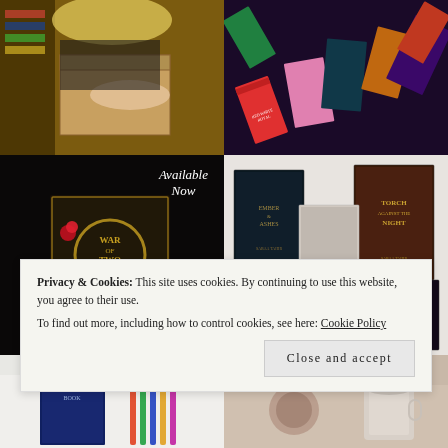[Figure (photo): Person with blonde hair handling a cardboard box near bookshelves]
[Figure (photo): Colorful book spines arranged in a flat lay, including titles like 'Red White Royal Blue' and other fantasy/romance books]
[Figure (photo): War of Two Queens by Jennifer L. Armentrout book cover with text overlay reading 'Available Now']
[Figure (photo): Fantasy books on white sheet including Ember Ashes, Torch Against the Night, Reaper at the Gates, and Sky in the Storm by Sabaa Tahir]
[Figure (photo): Book on white sheets, partially visible]
[Figure (photo): Colorful items arranged on surface, partially visible]
Privacy & Cookies: This site uses cookies. By continuing to use this website, you agree to their use.
To find out more, including how to control cookies, see here: Cookie Policy
Close and accept